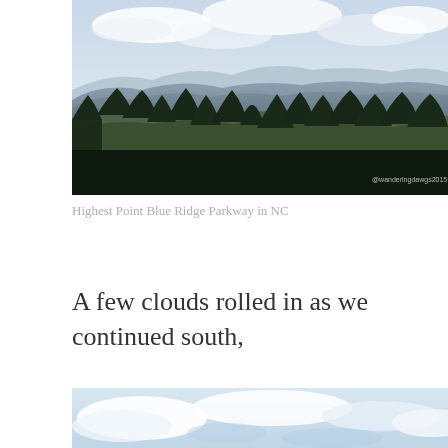[Figure (photo): Landscape photo of the Blue Ridge Parkway in NC showing layered mountain ridges in the background with dark conifer trees in the foreground under a partly cloudy sky. A watermark reads @wanderingdawgs2015 in the lower right corner.]
Highest Point Blue Ridge Parkway in NC
A few clouds rolled in as we continued south,
[Figure (photo): Partial photo showing a bright sky with white clouds, cropped at the top of the frame.]